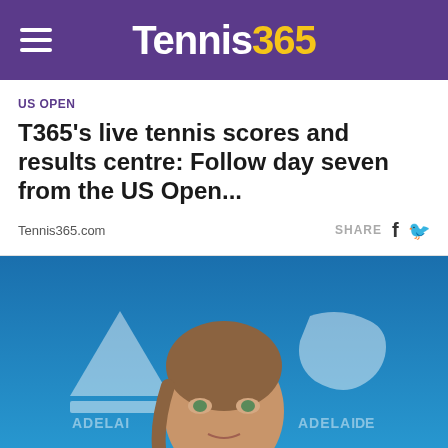Tennis365
US OPEN
T365's live tennis scores and results centre: Follow day seven from the US Open...
Tennis365.com
[Figure (photo): A female tennis player at a press conference with Adelaide tournament branding in the background. She is wearing a pink top and has braided hair, speaking into a microphone.]